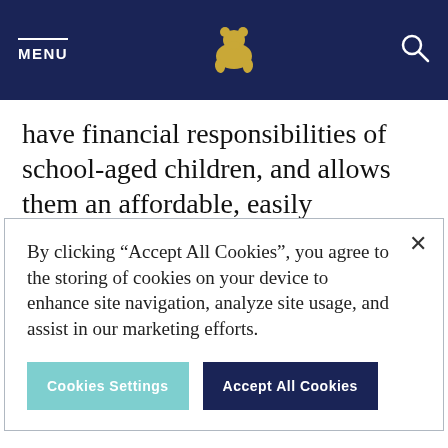MENU [bear logo] [search icon]
have financial responsibilities of school-aged children, and allows them an affordable, easily accessible retreat.
By clicking "Accept All Cookies", you agree to the storing of cookies on your device to enhance site navigation, analyze site usage, and assist in our marketing efforts.
Cookies Settings
Accept All Cookies